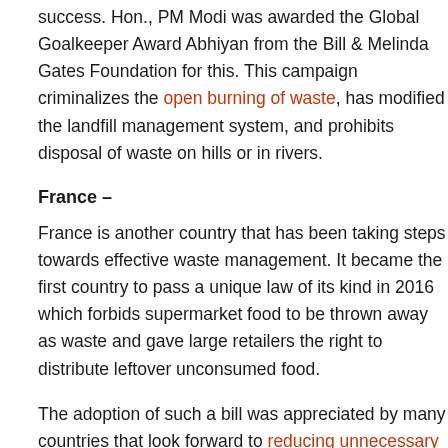success. Hon., PM Modi was awarded the Global Goalkeeper Award Abhiyan from the Bill & Melinda Gates Foundation for this. This campaign criminalizes the open burning of waste, has modified the landfill management system, and prohibits disposal of waste on hills or in rivers.
France –
France is another country that has been taking steps towards effective waste management. It became the first country to pass a unique law of its kind in 2016 which forbids supermarket food to be thrown away as waste and gave large retailers the right to distribute leftover unconsumed food.
The adoption of such a bill was appreciated by many countries that look forward to reducing unnecessary wastage. The concept of 'no waste' grocery stores is indeed a very good one.